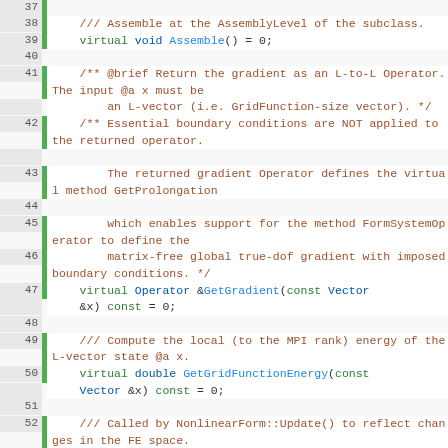[Figure (screenshot): Source code listing in C++ showing lines 37-58 of a file. The code defines virtual methods for a nonlinear form extension class including Assemble(), GetGradient(), GetGridFunctionEnergy(), Update(), and the beginning of PANonlinearFormExtension class definition. Line numbers are shown on the left with green bars indicating active lines.]